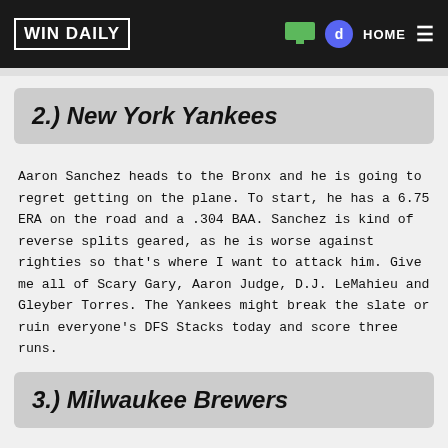WIN DAILY | HOME
2.) New York Yankees
Aaron Sanchez heads to the Bronx and he is going to regret getting on the plane. To start, he has a 6.75 ERA on the road and a .304 BAA. Sanchez is kind of reverse splits geared, as he is worse against righties so that's where I want to attack him. Give me all of Scary Gary, Aaron Judge, D.J. LeMahieu and Gleyber Torres. The Yankees might break the slate or ruin everyone's DFS Stacks today and score three runs.
3.) Milwaukee Brewers